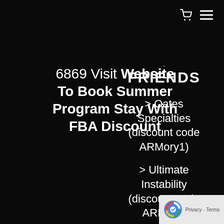[Figure (other): Shopping cart icon and hamburger menu icon in top right corner]
6869 Visit Website To Book Summer Program Stay With FBA Discount
FRIENDS
> Oates Specialties (discount code ARMory1)
> Ultimate Instability (discount code ARMory)
> Marc Pro
[Figure (other): reCAPTCHA widget overlay in bottom right corner showing Privacy - Terms]